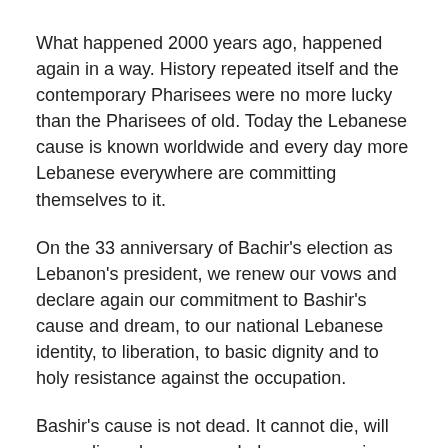What happened 2000 years ago, happened again in a way. History repeated itself and the contemporary Pharisees were no more lucky than the Pharisees of old. Today the Lebanese cause is known worldwide and every day more Lebanese everywhere are committing themselves to it.
On the 33 anniversary of Bachir's election as Lebanon's president, we renew our vows and declare again our commitment to Bashir's cause and dream, to our national Lebanese identity, to liberation, to basic dignity and to holy resistance against the occupation.
Bashir's cause is not dead. It cannot die, will never die as long as one Lebanese remains committed to Bashir's patriotic beliefs and loyalty to Lebanon, to 7000 years of history and civilization … Lebanon the 10452 km2.